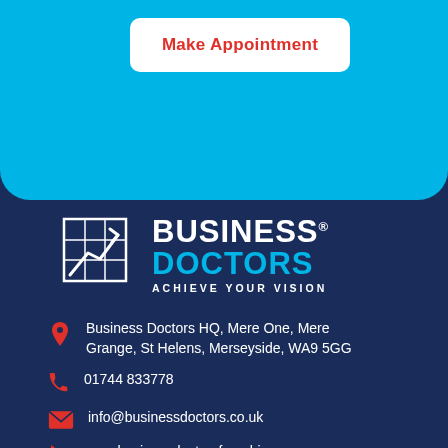[Figure (screenshot): Make Appointment button on sky-blue background section]
[Figure (logo): Business Doctors logo with grid/chart icon, text BUSINESS DOCTORS ACHIEVE YOUR VISION]
Business Doctors HQ, Mere One, Mere Grange, St Helens, Merseyside, WA9 5GG
01744 833778
info@businessdoctors.co.uk
www.businessdoctorsfranchise.com